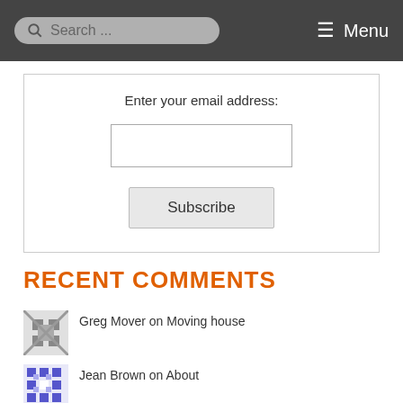Search ... Menu
Enter your email address:
Subscribe
RECENT COMMENTS
Greg Mover on Moving house
Jean Brown on About
Kennie on The Calling of Levi – a sermon on Luke 5:27-32